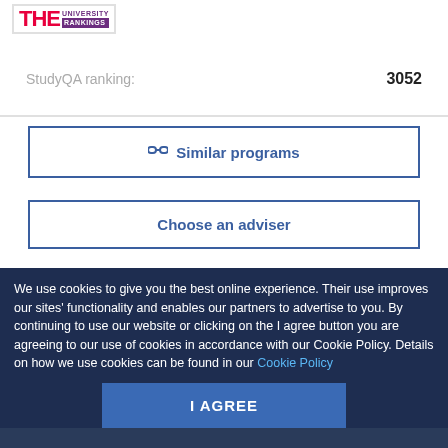[Figure (logo): THE University Rankings logo]
StudyQA ranking: 3052
Similar programs
Choose an adviser
ASK ADMISSIONS
We use cookies to give you the best online experience. Their use improves our sites' functionality and enables our partners to advertise to you. By continuing to use our website or clicking on the I agree button you are agreeing to our use of cookies in accordance with our Cookie Policy. Details on how we use cookies can be found in our Cookie Policy
I AGREE